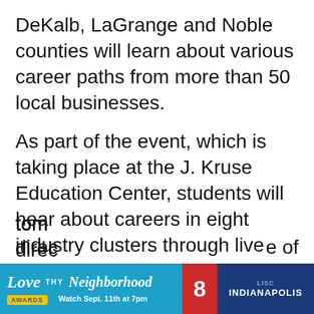DeKalb, LaGrange and Noble counties will learn about various career paths from more than 50 local businesses.
As part of the event, which is taking place at the J. Kruse Education Center, students will hear about careers in eight industry clusters through live demonstrations, hands-on activities and conversations with industry experts. They will also learn about the skills needed for in-demand jobs when they graduate.
“It’s imperative that we provide students the tools and resources they need to succeed, and this hands-on, real-world experience educates them on the skills they need today for the jobs of tomo... direc... e of
[Figure (infographic): Love Thy Neighborhood Awards advertisement banner with WISH-TV 8 and LISC Indianapolis logos. Text reads: Love THY Neighborhood AWARDS Watch Sept. 11th at 7pm, with WISH-TV channel 8 logo and LISC INDIANAPOLIS text.]